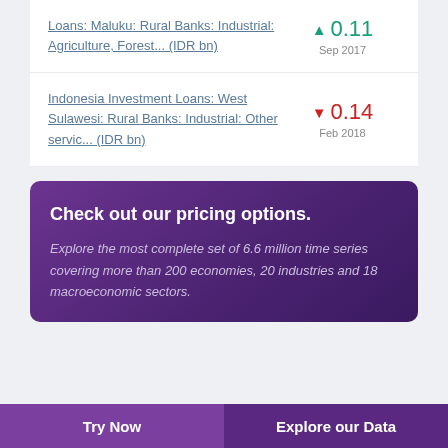Loans: Maluku: Rural Banks: Industrial: Agriculture, Forest... (IDR bn)
▲ 0.11
Sep 2017
Indonesia Investment Loans: West Sulawesi: Rural Banks: Industrial: Other servic... (IDR bn)
▼ 0.14
Feb 2018
Check out our pricing options.
Explore the most complete set of 6.6 million time series covering more than 200 economies, 20 industries and 18 macroeconomic sectors.
Try Now
Explore our Data